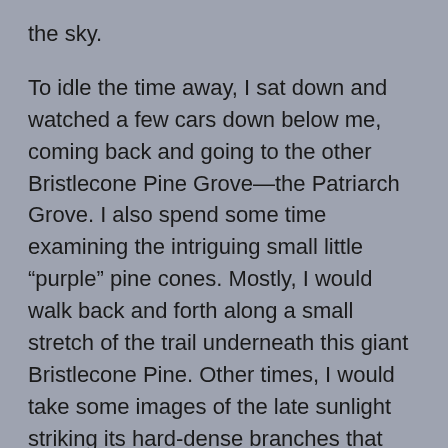the sky.
To idle the time away, I sat down and watched a few cars down below me, coming back and going to the other Bristlecone Pine Grove—the Patriarch Grove. I also spend some time examining the intriguing small little “purple” pine cones. Mostly, I would walk back and forth along a small stretch of the trail underneath this giant Bristlecone Pine. Other times, I would take some images of the late sunlight striking its hard-dense branches that reach for the sky.
Finally, it was a night, a few days before the full moon. I was a bit disappointed because there was so much light; I wouldn’t be able to capture a starry sky behind the Bristlecone Pine.